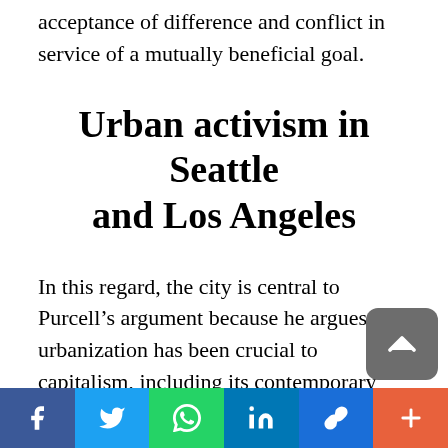acceptance of difference and conflict in service of a mutually beneficial goal.
Urban activism in Seattle and Los Angeles
In this regard, the city is central to Purcell’s argument because he argues that urbanization has been crucial to capitalism, including its contemporary neoliberal manifestation, and resistance to it has also